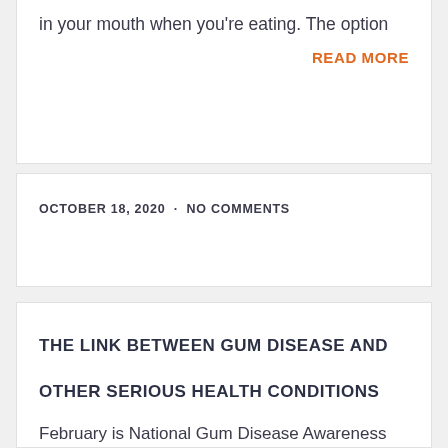in your mouth when you're eating. The option
READ MORE
OCTOBER 18, 2020 · NO COMMENTS
THE LINK BETWEEN GUM DISEASE AND OTHER SERIOUS HEALTH CONDITIONS
February is National Gum Disease Awareness Month. At Perfect Smiles Dentistry in Everett, Washington, we're